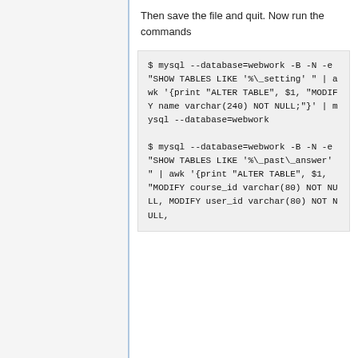Then save the file and quit. Now run the commands
$ mysql --database=webwork -B -N -e "SHOW TABLES LIKE '%\_setting' " | awk '{print "ALTER TABLE", $1, "MODIFY name varchar(240) NOT NULL;"}' | mysql --database=webwork

$ mysql --database=webwork -B -N -e "SHOW TABLES LIKE '%\_past\_answer' " | awk '{print "ALTER TABLE", $1, "MODIFY course_id varchar(80) NOT NULL, MODIFY user_id varchar(80) NOT NULL,